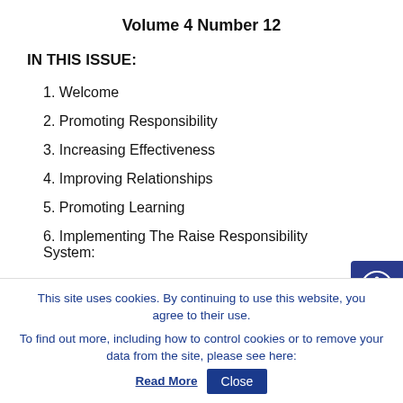Volume 4 Number 12
IN THIS ISSUE:
1. Welcome
2. Promoting Responsibility
3. Increasing Effectiveness
4. Improving Relationships
5. Promoting Learning
6. Implementing The Raise Responsibility System:
This site uses cookies. By continuing to use this website, you agree to their use. To find out more, including how to control cookies or to remove your data from the site, please see here: Read More